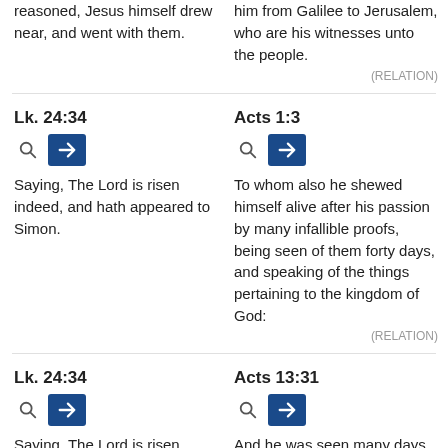reasoned, Jesus himself drew near, and went with them.
him from Galilee to Jerusalem, who are his witnesses unto the people.
(RELATION)
Lk. 24:34
Acts 1:3
Saying, The Lord is risen indeed, and hath appeared to Simon.
To whom also he shewed himself alive after his passion by many infallible proofs, being seen of them forty days, and speaking of the things pertaining to the kingdom of God:
(RELATION)
Lk. 24:34
Acts 13:31
Saying, The Lord is risen indeed, and hath appeared to
And he was seen many days of them which came up with